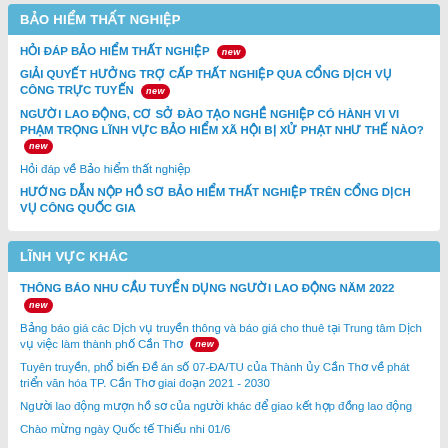BẢO HIỂM THẤT NGHIỆP
HỎI ĐÁP BẢO HIỂM THẤT NGHIỆP [new]
GIẢI QUYẾT HƯỞNG TRỢ CẤP THẤT NGHIỆP QUA CỔNG DỊCH VỤ CÔNG TRỰC TUYẾN [new]
NGƯỜI LAO ĐỘNG, CƠ SỞ ĐÀO TẠO NGHỀ NGHIỆP CÓ HÀNH VI VI PHẠM TRỌNG LĨNH VỰC BẢO HIỂM XÃ HỘI BỊ XỬ PHẠT NHƯ THẾ NÀO? [new]
Hỏi đáp về Bảo hiểm thất nghiệp
HƯỚNG DẪN NỘP HỒ SƠ BẢO HIỂM THẤT NGHIỆP TRÊN CỔNG DỊCH VỤ CÔNG QUỐC GIA
LĨNH VỰC KHÁC
THÔNG BÁO NHU CẦU TUYỂN DỤNG NGƯỜI LAO ĐỘNG NĂM 2022 [new]
Bảng báo giá các Dịch vụ truyền thông và báo giá cho thuê tại Trung tâm Dịch vụ việc làm thành phố Cần Thơ [new]
Tuyên truyền, phổ biến Đề án số 07-ĐA/TU của Thành ủy Cần Thơ về phát triển văn hóa TP. Cần Thơ giai đoạn 2021 - 2030
Người lao động mượn hồ sơ của người khác để giao kết hợp đồng lao động
Chào mừng ngày Quốc tế Thiếu nhi 01/6
GIỚI THIỆU TRUNG TÂM